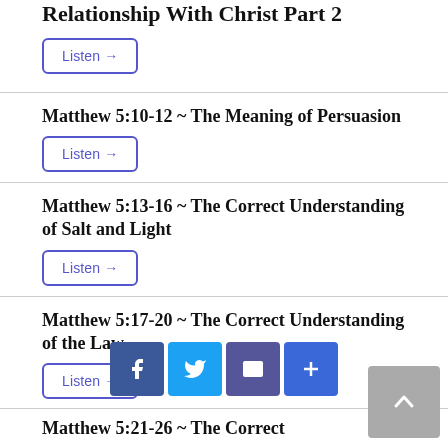Relationship With Christ Part 2
Listen →
Matthew 5:10-12 ~ The Meaning of Persuasion
Listen →
Matthew 5:13-16 ~ The Correct Understanding of Salt and Light
Listen →
Matthew 5:17-20 ~ The Correct Understanding of the Law
Listen →
Matthew 5:21-26 ~ The Correct